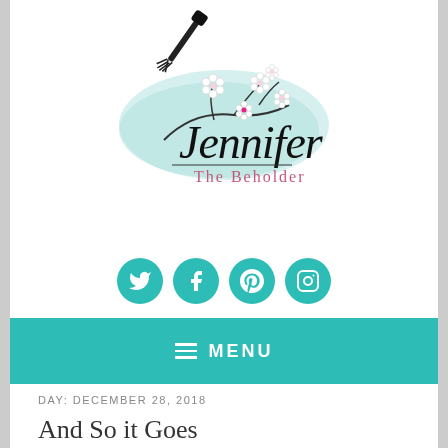[Figure (logo): Jennifer The Beholder blog logo with calligraphy script text, cherry blossom branch, and mascara wand illustration on a light teal watercolor background]
[Figure (infographic): Four teal circular social media icons in a row: Twitter (bird), Facebook (f), Pinterest (p), Instagram (camera)]
≡ MENU
DAY: DECEMBER 28, 2018
And So it Goes